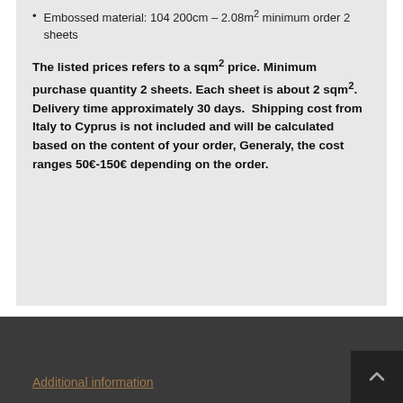Embossed material: 104 200cm – 2.08m² minimum order 2 sheets
The listed prices refers to a sqm² price. Minimum purchase quantity 2 sheets. Each sheet is about 2 sqm². Delivery time approximately 30 days. Shipping cost from Italy to Cyprus is not included and will be calculated based on the content of your order, Generaly, the cost ranges 50€-150€ depending on the order.
Additional information